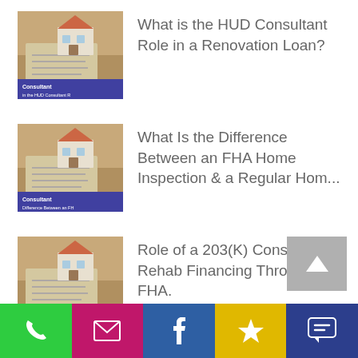[Figure (illustration): Thumbnail image for HUD Consultant article showing a house model on architectural plans with 'Consultant' text and subtitle about HUD Consultant Role in a Renovation Loan]
What is the HUD Consultant Role in a Renovation Loan?
[Figure (illustration): Thumbnail image for FHA Home Inspection article showing a house model on architectural plans with 'Consultant' text and subtitle about difference between FHA and Regular Home Inspection]
What Is the Difference Between an FHA Home Inspection & a Regular Hom...
[Figure (illustration): Thumbnail image for 203(K) Consultant article showing a house model on architectural plans with 'Consultant' text and subtitle about Role of a Consultant in 203(K) Financing Through FHA]
Role of a 203(K) Consultant in Rehab Financing Through FHA.